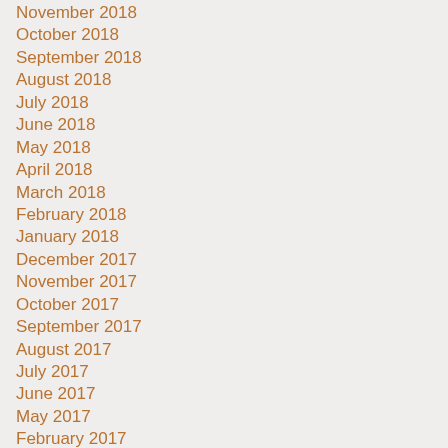November 2018
October 2018
September 2018
August 2018
July 2018
June 2018
May 2018
April 2018
March 2018
February 2018
January 2018
December 2017
November 2017
October 2017
September 2017
August 2017
July 2017
June 2017
May 2017
February 2017
January 2017